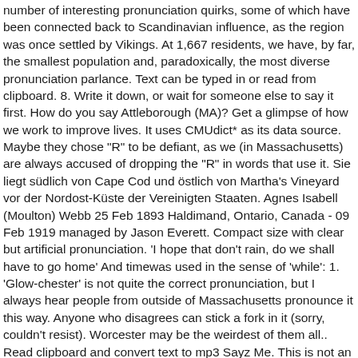number of interesting pronunciation quirks, some of which have been connected back to Scandinavian influence, as the region was once settled by Vikings. At 1,667 residents, we have, by far, the smallest population and, paradoxically, the most diverse pronunciation parlance. Text can be typed in or read from clipboard. 8. Write it down, or wait for someone else to say it first. How do you say Attleborough (MA)? Get a glimpse of how we work to improve lives. It uses CMUdict* as its data source. Maybe they chose "R" to be defiant, as we (in Massachusetts) are always accused of dropping the "R" in words that use it. Sie liegt südlich von Cape Cod und östlich von Martha's Vineyard vor der Nordost-Küste der Vereinigten Staaten. Agnes Isabell (Moulton) Webb 25 Feb 1893 Haldimand, Ontario, Canada - 09 Feb 1919 managed by Jason Everett. Compact size with clear but artificial pronunciation. 'I hope that don't rain, do we shall have to go home' And timewas used in the sense of 'while': 1. 'Glow-chester' is not quite the correct pronunciation, but I always hear people from outside of Massachusetts pronounce it this way. Anyone who disagrees can stick a fork in it (sorry, couldn't resist). Worcester may be the weirdest of them all.. Read clipboard and convert text to mp3 Sayz Me. This is not an official page of the city of Worcester. 'Sit you